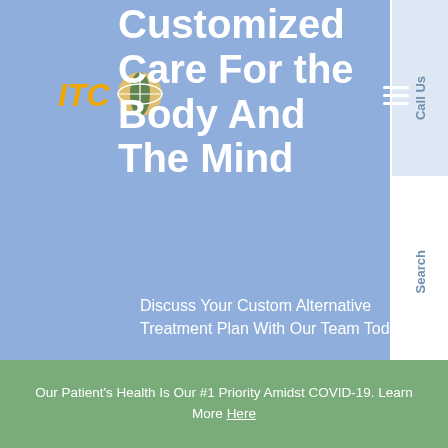[Figure (screenshot): Website screenshot for ITC medical clinic showing hero section with blue/periwinkle background, logo, navigation hamburger, large white heading text, subtitle, Start now CTA button, right sidebar with Call Us / Search / Chat links, Spanish language toggle with Mexican flag, and green footer bar.]
Customized Care For The Body And The Mind
Discuss Your Custom Alternative Treatment Plan With Our Team Today
Start now
Call Us
Search
Chat
Español
Our Patient's Health Is Our #1 Priority Amidst COVID-19. Learn More Here